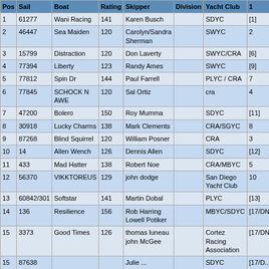| Pos | Sail | Boat | Rating | Skipper | Division | Yacht Club | 1 |
| --- | --- | --- | --- | --- | --- | --- | --- |
| 1 | 61277 | Wani Racing | 141 | Karen Busch |  | SDYC | [1] |
| 2 | 46447 | Sea Maiden | 120 | Carolyn/Sandra Sherman |  | SWYC | 2 |
| 3 | 15799 | Distraction | 120 | Don Laverty |  | SWYC/CRA | [6] |
| 4 | 77394 | Liberty | 123 | Randy Ames |  | SWYC | [9] |
| 5 | 77812 | Spin Dr | 144 | Paul Farrell |  | PLYC / CRA | 7 |
| 6 | 77845 | SCHOCK N AWE | 120 | Sal Ortiz |  | cra | 4 |
| 7 | 47200 | Bolero | 150 | Roy Mumma |  | SDYC | [11] |
| 8 | 30918 | Lucky Charms | 138 | Mark Clements |  | CRA/SGYC | 8 |
| 9 | 87268 | Blind Squirrel | 120 | William Posner |  | CRA | 3 |
| 10 | 14 | Allen Wench | 126 | Dennis Allen |  | SDYC | [12] |
| 11 | 433 | Mad Hatter | 138 | Robert Noe |  | CRA/MBYC | 5 |
| 12 | 56370 | VIKKTOREUS | 129 | john dodge |  | San Diego Yacht Club | 10 |
| 13 | 60842/301 | Softstar | 141 | Martin Dobal |  | PLYC | [13] |
| 14 | 136 | Resilience | 156 | Rob Harring Lowell Potiker |  | MBYC/SDYC | [17/DNC |
| 15 | 3373 | Good Times | 126 | thomas luneau john McGee |  | Cortez Racing Association | [17/DNC |
| 15 | 87638 | ... | ... | Julie ... |  | SDYC | [17/D... |